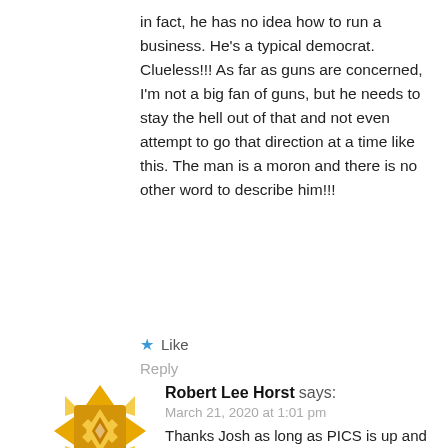in fact, he has no idea how to run a business. He’s a typical democrat. Clueless!!! As far as guns are concerned, I’m not a big fan of guns, but he needs to stay the hell out of that and not even attempt to go that direction at a time like this. The man is a moron and there is no other word to describe him!!!
★ Like
Reply
[Figure (logo): Golden decorative icon avatar for Robert Lee Horst, geometric diamond pattern in gold/yellow colors]
Robert Lee Horst says:
March 21, 2020 at 1:01 pm
Thanks Josh as long as PICS is up and running Iam open